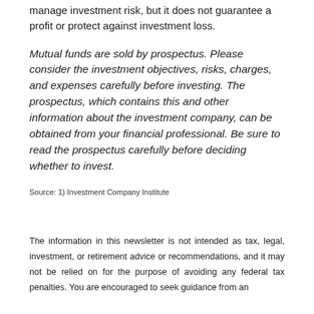manage investment risk, but it does not guarantee a profit or protect against investment loss.
Mutual funds are sold by prospectus. Please consider the investment objectives, risks, charges, and expenses carefully before investing. The prospectus, which contains this and other information about the investment company, can be obtained from your financial professional. Be sure to read the prospectus carefully before deciding whether to invest.
Source: 1) Investment Company Institute
The information in this newsletter is not intended as tax, legal, investment, or retirement advice or recommendations, and it may not be relied on for the purpose of avoiding any federal tax penalties. You are encouraged to seek guidance from an